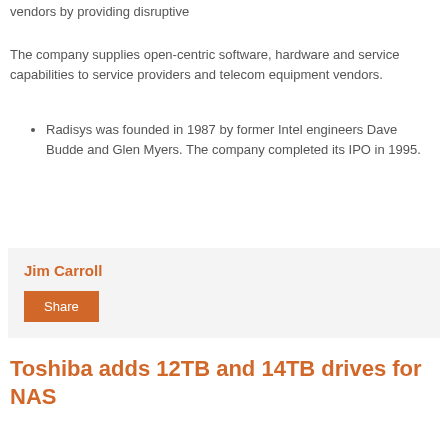vendors by providing disruptive
The company supplies open-centric software, hardware and service capabilities to service providers and telecom equipment vendors.
Radisys was founded in 1987 by former Intel engineers Dave Budde and Glen Myers. The company completed its IPO in 1995.
Jim Carroll
Share
Toshiba adds 12TB and 14TB drives for NAS
Toshiba America Electronic Components introduced 12TB and 14TB models to both its N300 NAS Hard Drive and X300 Performance Hard Drive series.